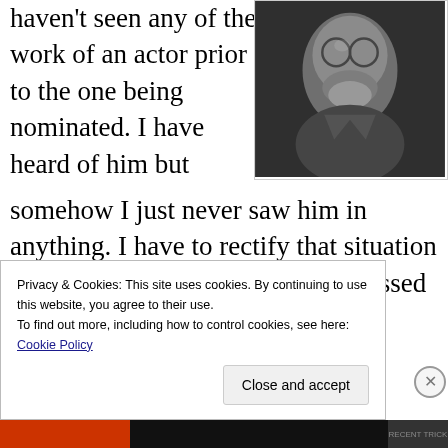haven't seen any of the work of an actor prior to the one being nominated. I have heard of him but somehow I just never saw him in anything. I have to rectify that situation at some point as I was quite impressed by his performance in Nebraska. People
[Figure (photo): Black and white close-up portrait of an elderly man with glasses and a beard]
Privacy & Cookies: This site uses cookies. By continuing to use this website, you agree to their use. To find out more, including how to control cookies, see here: Cookie Policy
Close and accept